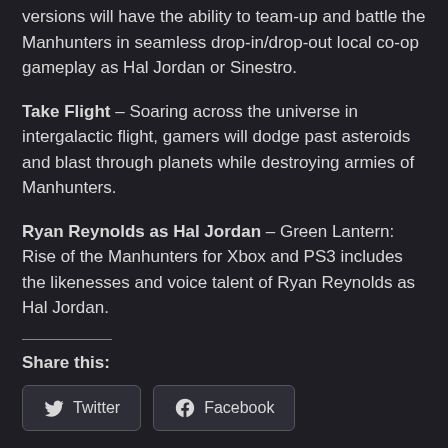versions will have the ability to team-up and battle the Manhunters in seamless drop-in/drop-out local co-op gameplay as Hal Jordan or Sinestro.
Take Flight – Soaring across the universe in intergalactic flight, gamers will dodge past asteroids and blast through planets while destroying armies of Manhunters.
Ryan Reynolds as Hal Jordan – Green Lantern: Rise of the Manhunters for Xbox and PS3 includes the likenesses and voice talent of Ryan Reynolds as Hal Jordan.
Share this:
[Figure (other): Share buttons for Twitter and Facebook]
Developers Say 3DS Graphics Rival PS3, Xbox 360
Can it be true? Can a handheld have graphics that rival the PS3 and the Xbox